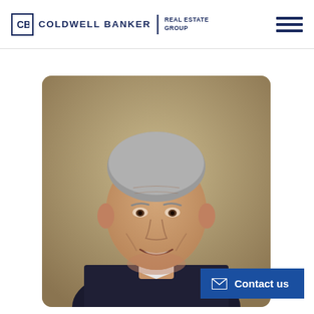Coldwell Banker Real Estate Group
[Figure (photo): Professional headshot of an older gentleman with gray hair, smiling, wearing a dark suit and white shirt, against a warm beige/tan background]
Contact us